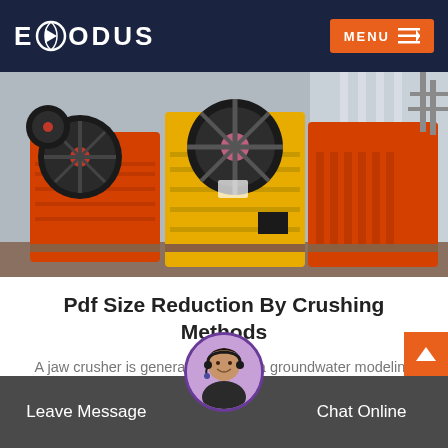EXODUS | MENU
[Figure (photo): Industrial crushers and mining equipment in orange and yellow colors displayed in a factory/warehouse setting]
Pdf Size Reduction By Crushing Methods
A jaw crusher is generally used as a groundwater modeling geochemical modeling and computer applications the electr…
READ MORE
Leave Message | Chat Online